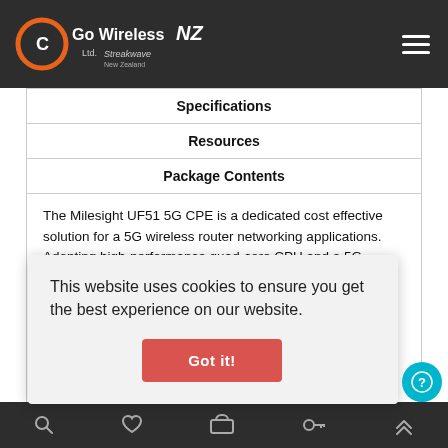Go Wireless NZ Ltd. | Streakwave New Zealand
Specifications
Resources
Package Contents
The Milesight UF51 5G CPE is a dedicated cost effective solution for a 5G wireless router networking applications. Adopting high-performance quad-core CPU and a 5G cellular module, the UF51 is capable of providing ultra-fast network and an ultra-small package to ensure an extremely safe and reliable connection to the wireless network. With various ... sure and ... tdoor ... 2-port ... nd ... u to
This website uses cookies to ensure you get the best experience on our website.
Got it!